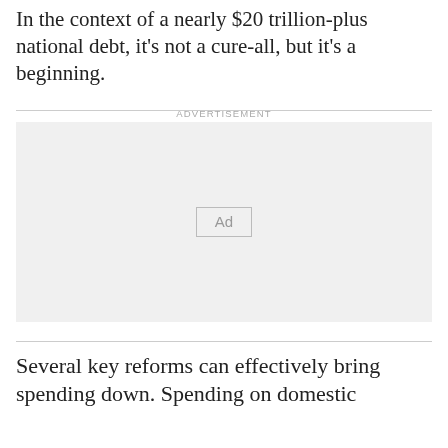In the context of a nearly $20 trillion-plus national debt, it’s not a cure-all, but it’s a beginning.
[Figure (other): Advertisement placeholder box with 'Ad' label centered]
Several key reforms can effectively bring spending down. Spending on domestic